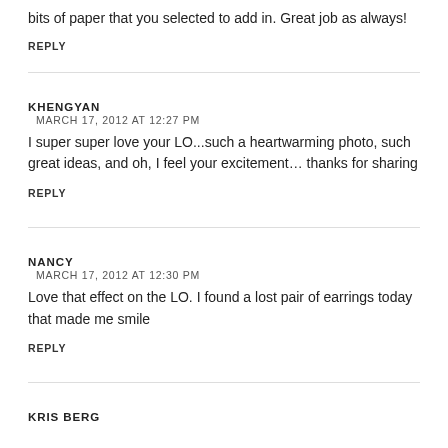bits of paper that you selected to add in. Great job as always!
REPLY
KHENGYAN
MARCH 17, 2012 AT 12:27 PM
I super super love your LO...such a heartwarming photo, such great ideas, and oh, I feel your excitement... thanks for sharing
REPLY
NANCY
MARCH 17, 2012 AT 12:30 PM
Love that effect on the LO. I found a lost pair of earrings today that made me smile
REPLY
KRIS BERG